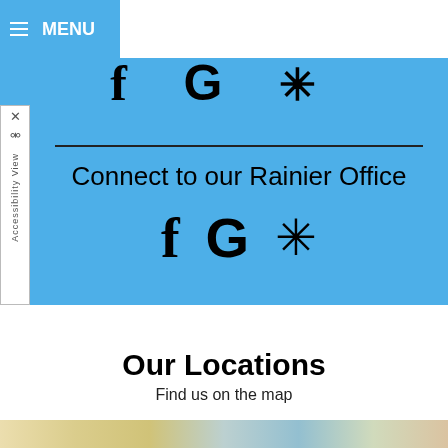≡ MENU
[Figure (screenshot): Partial social media icons (Facebook, Google, Yelp) cut off at top of blue banner]
Connect to our Rainier Office
[Figure (infographic): Social media icons: Facebook (f), Google (G), Yelp (asterisk/snowflake icon) on blue background]
Our Locations
Find us on the map
[Figure (map): Partial map strip visible at the very bottom of the page]